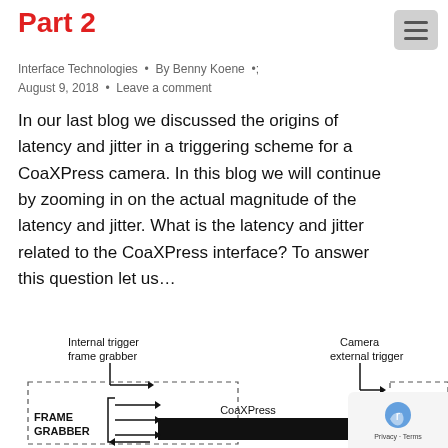Part 2
Interface Technologies · By Benny Koene · August 9, 2018 · Leave a comment
In our last blog we discussed the origins of latency and jitter in a triggering scheme for a CoaXPress camera. In this blog we will continue by zooming in on the actual magnitude of the latency and jitter. What is the latency and jitter related to the CoaXPress interface? To answer this question let us…
[Figure (schematic): Diagram showing Internal trigger frame grabber and Camera external trigger signals connected via CoaXPress interface between FRAME GRABBER and CAMERA blocks]